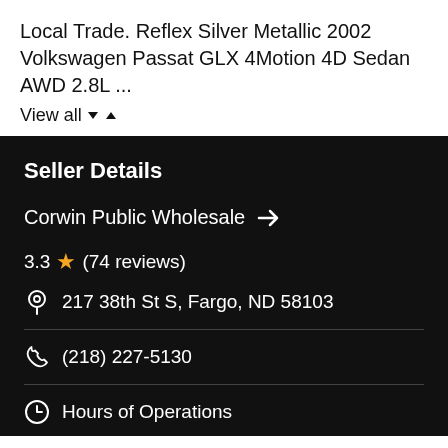Local Trade. Reflex Silver Metallic 2002 Volkswagen Passat GLX 4Motion 4D Sedan AWD 2.8L ...
View all
Seller Details
Corwin Public Wholesale
3.3 ★ (74 reviews)
217 38th St S, Fargo, ND 58103
(218) 227-5130
Hours of Operations
Sales